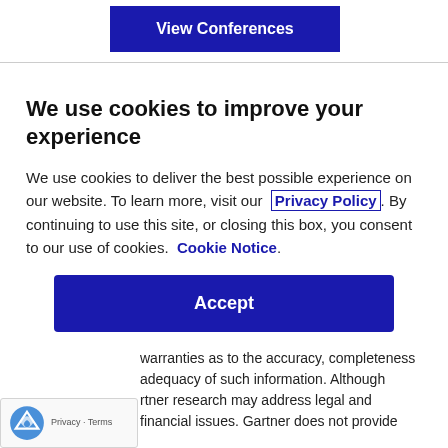[Figure (other): Blue 'View Conferences' button banner at top of page]
We use cookies to improve your experience
We use cookies to deliver the best possible experience on our website. To learn more, visit our  Privacy Policy. By continuing to use this site, or closing this box, you consent to our use of cookies.  Cookie Notice.
[Figure (other): Blue 'Accept' button]
warranties as to the accuracy, completeness adequacy of such information. Although rtner research may address legal and financial issues. Gartner does not provide
[Figure (other): reCAPTCHA badge with Privacy and Terms labels]